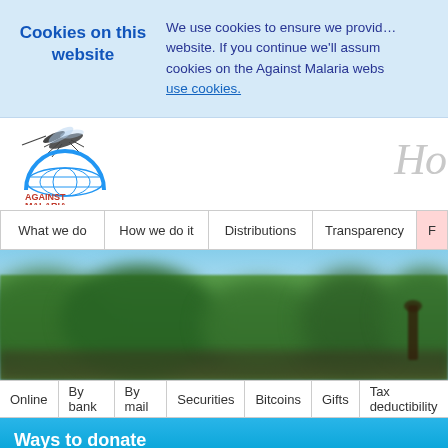Cookies on this website
We use cookies to ensure we provide you with the best experience on our website. If you continue we'll assume that you are happy to receive all cookies on the Against Malaria website. Find out more about how we use cookies.
[Figure (logo): Against Malaria Foundation logo with mosquito and globe icon]
Ho
What we do
How we do it
Distributions
Transparency
[Figure (photo): Blurry outdoor photo showing green trees and sky]
Online | By bank | By mail | Securities | Bitcoins | Gifts | Tax deductibility
Ways to donate